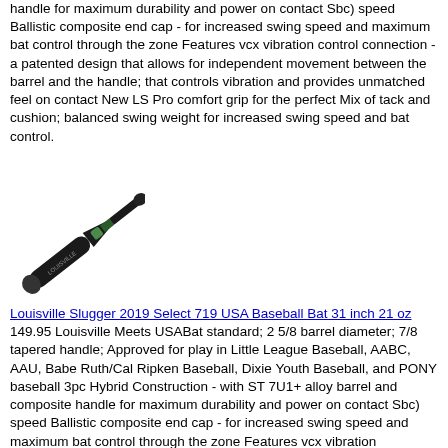handle for maximum durability and power on contact Sbc) speed Ballistic composite end cap - for increased swing speed and maximum bat control through the zone Features vcx vibration control connection - a patented design that allows for independent movement between the barrel and the handle; that controls vibration and provides unmatched feel on contact New LS Pro comfort grip for the perfect Mix of tack and cushion; balanced swing weight for increased swing speed and bat control.
[Figure (photo): Photo of a Louisville Slugger baseball bat, dark/black colored, shown diagonally from top-left to bottom-right]
Louisville Slugger 2019 Select 719 USA Baseball Bat 31 inch 21 oz 149.95 Louisville Meets USABat standard; 2 5/8 barrel diameter; 7/8 tapered handle; Approved for play in Little League Baseball, AABC, AAU, Babe Ruth/Cal Ripken Baseball, Dixie Youth Baseball, and PONY baseball 3pc Hybrid Construction - with ST 7U1+ alloy barrel and composite handle for maximum durability and power on contact Sbc) speed Ballistic composite end cap - for increased swing speed and maximum bat control through the zone Features vcx vibration